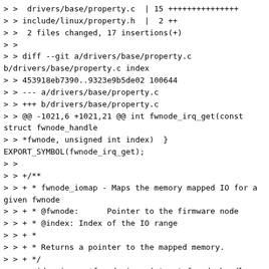> >  drivers/base/property.c  | 15 +++++++++++++++
> > include/linux/property.h  |  2 ++
> >  2 files changed, 17 insertions(+)
> >
> > diff --git a/drivers/base/property.c b/drivers/base/property.c index
> > 453918eb7390..9323e9b5de02 100644
> > --- a/drivers/base/property.c
> > +++ b/drivers/base/property.c
> > @@ -1021,6 +1021,21 @@ int fwnode_irq_get(const struct fwnode_handle
> > *fwnode, unsigned int index)  }
EXPORT_SYMBOL(fwnode_irq_get);
> >
> > +/**
> > + * fwnode_iomap - Maps the memory mapped IO for a given fwnode
> > + * @fwnode:      Pointer to the firmware node
> > + * @index: Index of the IO range
> > + *
> > + * Returns a pointer to the mapped memory.
> > + */
> > +void __iomem *fwnode_iomap(struct fwnode_handle *fwnode, int
> index) {
> > +   if (is_of_node(fwnode))
> > +         return of_iomap(to_of_node(fwnode),
index);
> > +
> > +   return NULL;